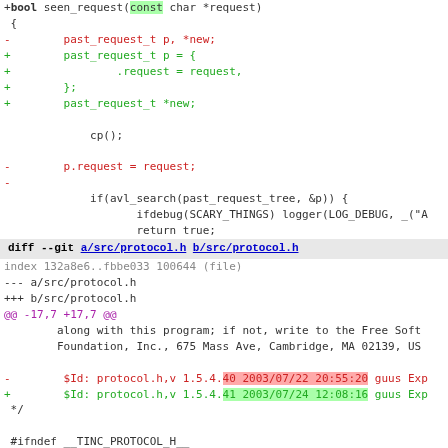[Figure (screenshot): Code diff showing changes to seen_request function and protocol.h file, with added lines in green, removed lines in red, and highlighted diff markers.]